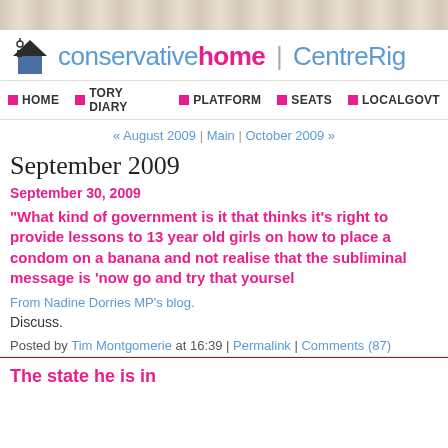[Figure (screenshot): Decorative header banner with tan/beige pattern]
conservativehome | CentreRight
Home | Tory Diary | Platform | Seats | LocalGovt
« August 2009 | Main | October 2009 »
September 2009
September 30, 2009
"What kind of government is it that thinks it's right to provide lessons to 13 year old girls on how to place a condom on a banana and not realise that the subliminal message is 'now go and try that yourself'
From Nadine Dorries MP's blog.
Discuss.
Posted by Tim Montgomerie at 16:39 | Permalink | Comments (87)
The state he is in